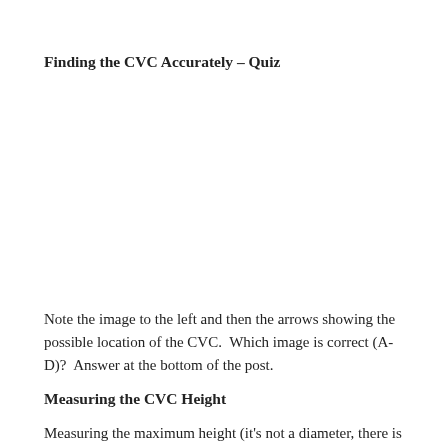Finding the CVC Accurately – Quiz
[Figure (other): Blank image placeholder area for quiz images showing possible CVC locations (A-D)]
Note the image to the left and then the arrows showing the possible location of the CVC.  Which image is correct (A-D)?  Answer at the bottom of the post.
Measuring the CVC Height
Measuring the maximum height (it's not a diameter, there is